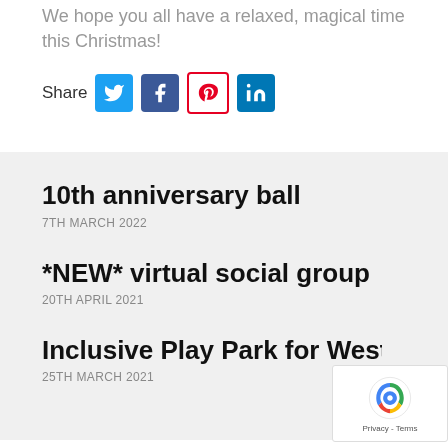We hope you all have a relaxed, magical time this Christmas!
[Figure (infographic): Share row with social media icons: Twitter (blue bird), Facebook (blue f), Pinterest (red circle P), LinkedIn (blue in)]
10th anniversary ball
7TH MARCH 2022
*NEW* virtual social group
20TH APRIL 2021
Inclusive Play Park for Westhi
25TH MARCH 2021